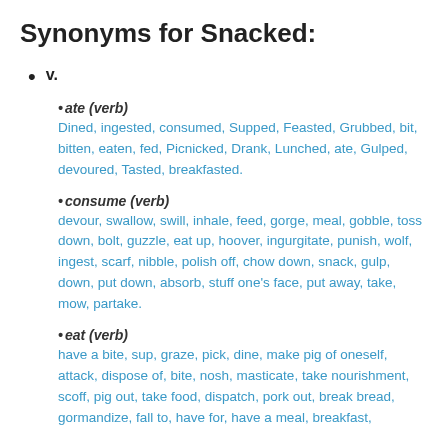Synonyms for Snacked:
v.
•ate (verb)
Dined, ingested, consumed, Supped, Feasted, Grubbed, bit, bitten, eaten, fed, Picnicked, Drank, Lunched, ate, Gulped, devoured, Tasted, breakfasted.
•consume (verb)
devour, swallow, swill, inhale, feed, gorge, meal, gobble, toss down, bolt, guzzle, eat up, hoover, ingurgitate, punish, wolf, ingest, scarf, nibble, polish off, chow down, snack, gulp, down, put down, absorb, stuff one's face, put away, take, mow, partake.
•eat (verb)
have a bite, sup, graze, pick, dine, make pig of oneself, attack, dispose of, bite, nosh, masticate, take nourishment, scoff, pig out, take food, dispatch, pork out, break bread, gormandize, fall to, have for, have a meal, breakfast,